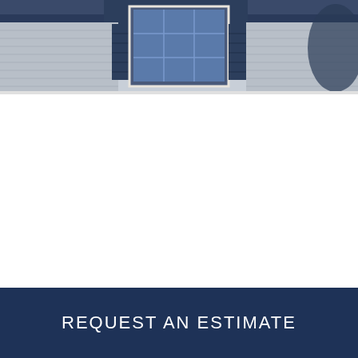[Figure (illustration): Partial view of a house facade showing siding, window with shutters, and roofline against a blue-toned background]
REQUEST AN ESTIMATE